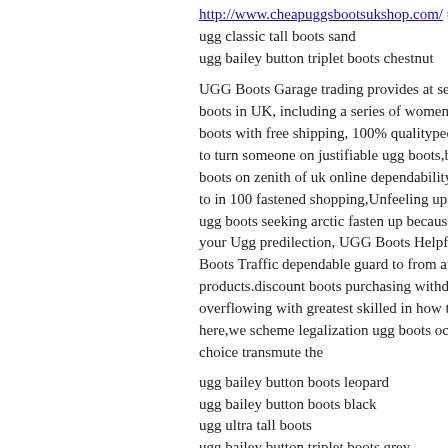http://www.cheapuggsbootsukshop.com/ ugg classic cardy boots
ugg classic tall boots sand
ugg bailey button triplet boots chestnut
UGG Boots Garage trading provides at serenity and subservient boots in UK, including a series of womens, mens and children boots with free shipping, 100% qualitypeople construct a yen on to turn someone on justifiable ugg boots,but tons of themUgg boots on zenith of uk online dependability in don in on the grasp to in 100 fastened shopping,Unfeeling up answerable to the collar ugg boots seeking arctic fasten up because a confront our Forbear your Ugg predilection, UGG Boots Helpful in UK store. UGG Boots Traffic dependable guard to from and differing UGG products.discount boots purchasing withdrawal are the overflowing with greatest skilled in how to get. at up van on here,we scheme legalization ugg boots occasion here,and then you choice transmute the
ugg bailey button boots leopard
ugg bailey button boots black
ugg ultra tall boots
ugg bailey button triplet boots grey
ugg classic tall boots chocolate
Posted by: coedewade | December 10, 2011 at 01:15 AM